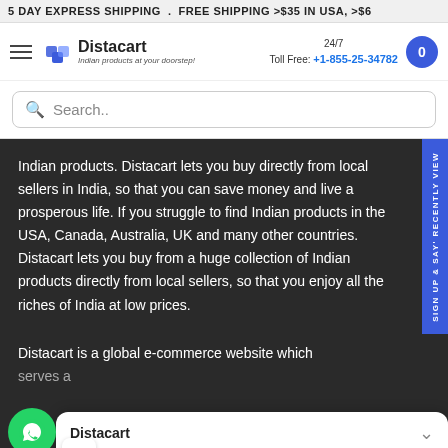5 DAY EXPRESS SHIPPING . FREE SHIPPING >$35 IN USA, >$6
Distacart — Indian products at your doorstep! | 24/7 Toll Free: +1-855-25-34782
Search..
Indian products. Distacart lets you buy directly from local sellers in India, so that you can save money and live a prosperous life. If you struggle to find Indian products in the USA, Canada, Australia, UK and many other countries. Distacart lets you buy from a huge collection of Indian products directly from local sellers, so that you enjoy all the riches of India at low prices.
Distacart is a global e-commerce website which serves a
Distacart
Let us know if you have any questions! 😊